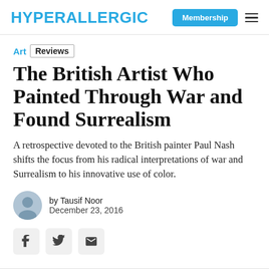HYPERALLERGIC
Art  Reviews
The British Artist Who Painted Through War and Found Surrealism
A retrospective devoted to the British painter Paul Nash shifts the focus from his radical interpretations of war and Surrealism to his innovative use of color.
by Tausif Noor
December 23, 2016